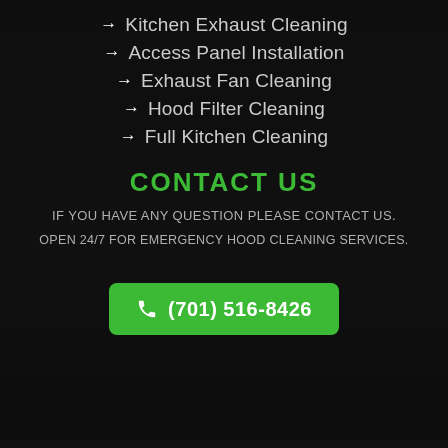→ Kitchen Exhaust Cleaning
→ Access Panel Installation
→ Exhaust Fan Cleaning
→ Hood Filter Cleaning
→ Full Kitchen Cleaning
CONTACT US
IF YOU HAVE ANY QUESTION PLEASE CONTACT US.
OPEN 24/7 FOR EMERGENCY HOOD CLEANING SERVICES.
(701) 516-8426